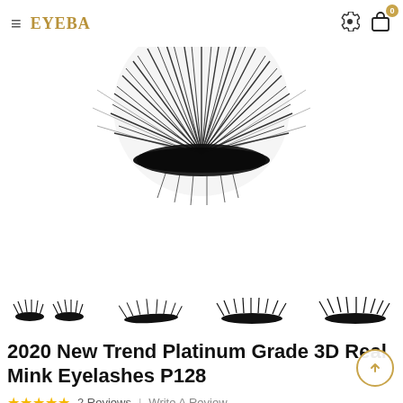≡ EYEBA  ⚙ 🛍 0
[Figure (photo): Close-up photo of dramatic 3D mink false eyelashes fanned out in a circular arrangement on a white background, showing dense, long black lashes.]
[Figure (photo): Four thumbnail images of mink eyelash styles shown side by side: natural pair, single lash strip, full pair, and voluminous pair.]
2020 New Trend Platinum Grade 3D Real Mink Eyelashes P128
★★★★★  2 Reviews  |  Write A Review